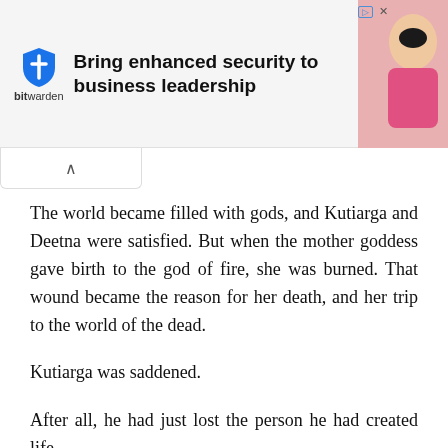[Figure (other): Bitwarden advertisement banner with shield logo, text 'Bring enhanced security to business leadership', and a photo of a smiling person in pink clothing]
The world became filled with gods, and Kutiarga and Deetna were satisfied. But when the mother goddess gave birth to the god of fire, she was burned. That wound became the reason for her death, and her trip to the world of the dead.
Kutiarga was saddened.
After all, he had just lost the person he had created life with, his lit...